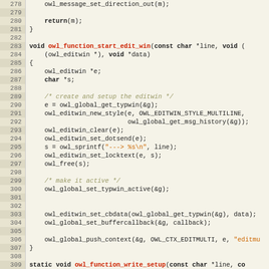[Figure (screenshot): Source code viewer showing C code lines 278-306, with line numbers on the left (beige background), code on the right. Keywords highlighted in dark blue bold, function names in red bold, strings in orange, comments in italic tan.]